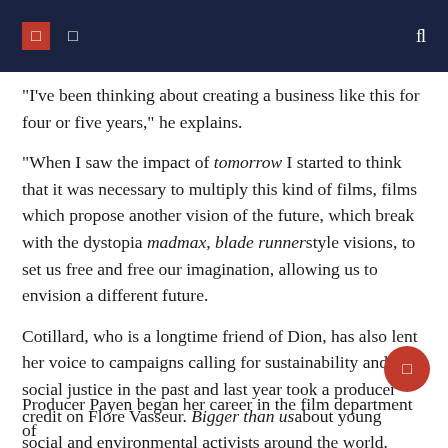navigation header with icons
“I’ve been thinking about creating a business like this for four or five years,” he explains.
“When I saw the impact of tomorrow I started to think that it was necessary to multiply this kind of films, films which propose another vision of the future, which break with the dystopia madmax, blade runner style visions, to set us free and free our imagination, allowing us to envision a different future.
Cotillard, who is a longtime friend of Dion, has also lent her voice to campaigns calling for sustainability and social justice in the past and last year took a producer credit on Flore Vasseur. Bigger than us about young social and environmental activists around the world.
Producer Payen began her career in the film department of